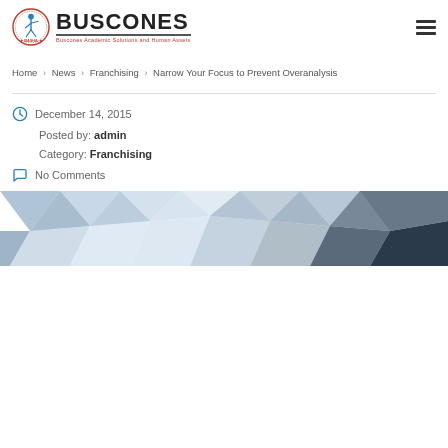[Figure (logo): Buscones logo with circular emblem on left and BUSCONES text in bold with tagline 'Buscones Academic Solutions and Human Assets' below]
Home › News › Franchising › Narrow Your Focus to Prevent Overanalysis
December 14, 2015
Posted by: admin
Category: Franchising
No Comments
[Figure (illustration): Abstract low-poly geometric background in shades of blue, grey, and dark tones]